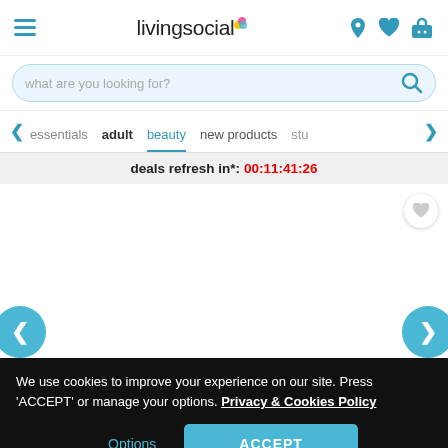[Figure (screenshot): LivingSocial website header with hamburger menu, logo, and navigation icons]
[Figure (screenshot): Search bar with placeholder text 'what are you looking for?' and search icon]
essentials  adult  beauty  new products  stu
deals refresh in*: 00:11:41:26
We use cookies to improve your experience on our site. Press 'ACCEPT' or manage your options. Privacy & Cookies Policy
Options
ACCEPT